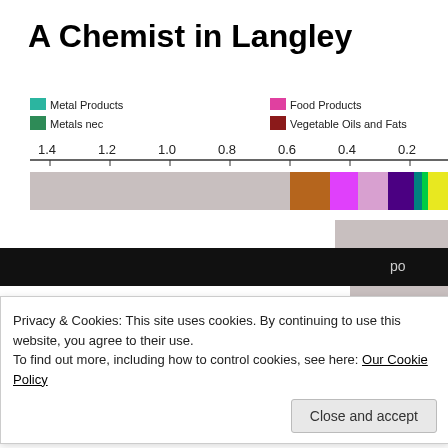A Chemist in Langley
[Figure (stacked-bar-chart): Partial stacked horizontal bar chart showing trade data. Legend shows Metal Products (teal), Metals nec (green), Food Products (magenta), Vegetable Oils and Fats (dark red). X-axis shows values from 1.4 down to 0.2. Three colored bars visible at right portion of chart. Three grey partial bars visible at far right.]
Privacy & Cookies: This site uses cookies. By continuing to use this website, you agree to their use.
To find out more, including how to control cookies, see here: Our Cookie Policy
Close and accept